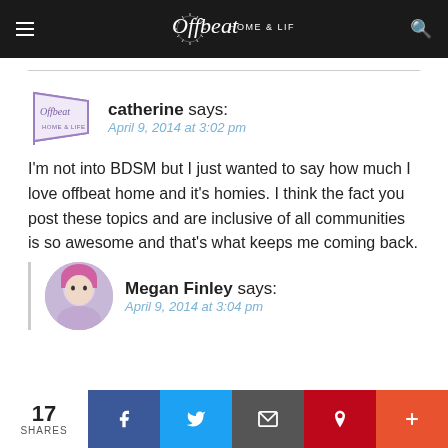Offbeat HOME & LIFE
catherine says:
April 9, 2014 at 3:02 pm
I'm not into BDSM but I just wanted to say how much I love offbeat home and it's homies. I think the fact you post these topics and are inclusive of all communities is so awesome and that's what keeps me coming back.
Megan Finley says:
April 9, 2014 at 3:04 pm
17 SHARES